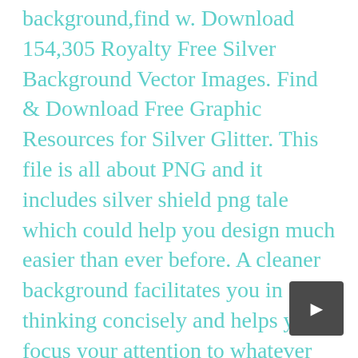background,find w. Download 154,305 Royalty Free Silver Background Vector Images. Find & Download Free Graphic Resources for Silver Glitter. This file is all about PNG and it includes silver shield png tale which could help you design much easier than ever before. A cleaner background facilitates you in thinking concisely and helps you focus your attention to whatever you want it focused on. HubPng provides Millions of free PNG images, icons and background images, enjoy with free download png transparent background photos for all designers. Advertisements Silver PNG Images Transparent Background. 9 PNG, Silver Frame with transparent background, High Quality, 300 DPI, for Photoshop and free downloads.Photo frame template for personal use only. We can more easily find the images and logos you are looking for Into an archive. Silver Background Transparent PNG Download